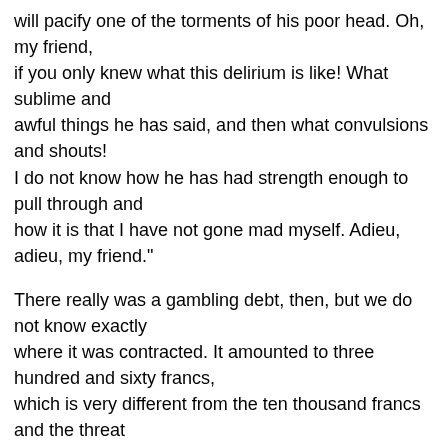will pacify one of the torments of his poor head. Oh, my friend,
if you only knew what this delirium is like! What sublime and
awful things he has said, and then what convulsions and shouts!
I do not know how he has had strength enough to pull through and
how it is that I have not gone mad myself. Adieu, adieu, my friend."
There really was a gambling debt, then, but we do not know exactly
where it was contracted. It amounted to three hundred and sixty francs,
which is very different from the ten thousand francs and the threat
of suicide.
And now we come to the pure folly! Musset had been attended
by a young doctor, Pietro Pagello. He was a straightforward sort
of young man, of rather slow intelligence, without much conversation.